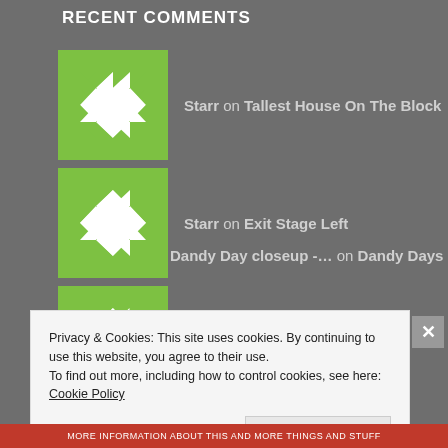RECENT COMMENTS
Starr on Tallest House On The Block
Starr on Exit Stage Left
Starr on Chic Farm
Dandy Day closeup -… on Dandy Days
Starr on Living On A Prayer.
Privacy & Cookies: This site uses cookies. By continuing to use this website, you agree to their use.
To find out more, including how to control cookies, see here: Cookie Policy
Close and accept